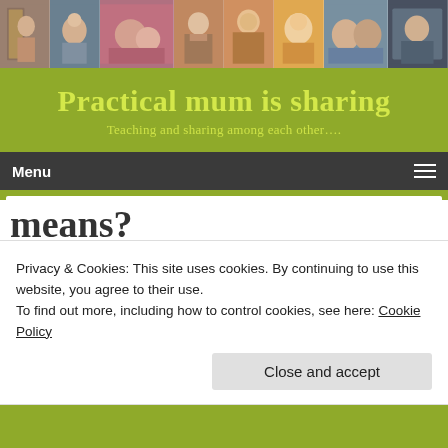[Figure (photo): Header photo strip showing multiple family/baby photos in a collage]
Practical mum is sharing
Teaching and sharing among each other….
Menu
Home › Baby development › I have hard belly…..do you know what
Privacy & Cookies: This site uses cookies. By continuing to use this website, you agree to their use.
To find out more, including how to control cookies, see here: Cookie Policy
Close and accept
means?